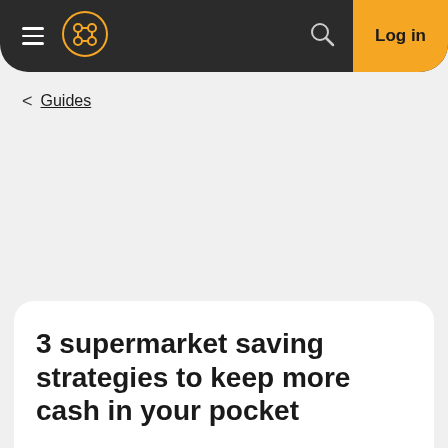Log in
< Guides
3 supermarket saving strategies to keep more cash in your pocket